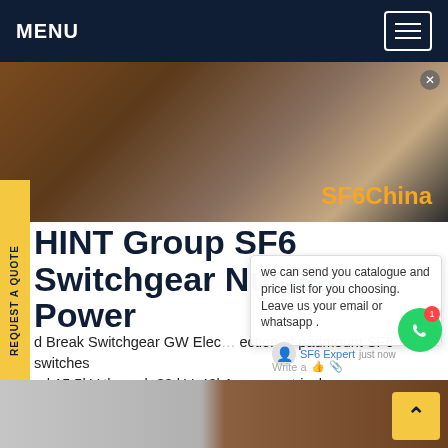MENU
[Figure (photo): Hero banner photo showing industrial electrical equipment with warm orange/brown tones and overlay text 'SF6China']
HINT Group SF6 Switchgear Nuclear Power
d Break Switchgear GW Elec…ection of padmount SF6 switches…ed 15.5kV through 38 kV, 40kA asymmetrical…mentary, and 630A to 900A continuous current. gas provides excellent electrical and mechanical properties and offers many advantages compared to other dielectrics.Get price
[Figure (screenshot): Live chat popup showing message: 'we can send you catalogue and price list for you choosing. Leave us your email or whatsapp.' with SF6 Expert agent avatar, green chat button with badge showing 1, and write/thumbs-up/attachment icons]
[Figure (photo): Bottom strip showing partial images of electrical switchgear equipment]